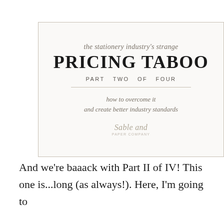[Figure (other): Cover image box with title 'the stationery industry's strange PRICING TABOO PART TWO OF FOUR — how to overcome it and create better industry standards' with a logo at the bottom reading 'Sable and paper company']
And we're baaack with Part II of IV! This one is...long (as always!). Here, I'm going to